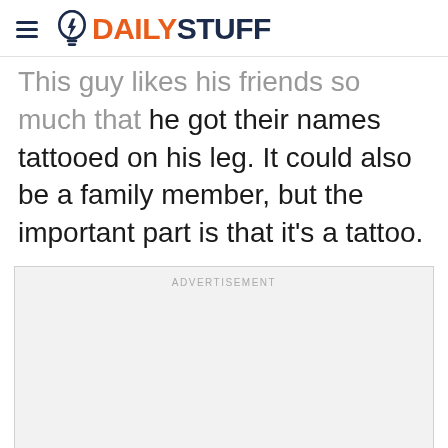DAILYSTUFF
This guy likes his friends so much that he got their names tattooed on his leg. It could also be a family member, but the important part is that it's a tattoo.
[Figure (other): Advertisement placeholder box with label ADVERTISEMENT]